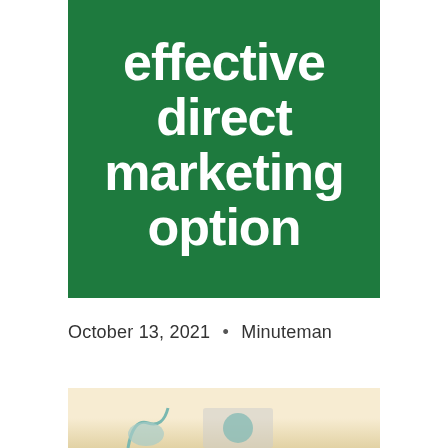[Figure (illustration): Green banner with white bold text reading 'effective direct marketing option']
October 13, 2021 • Minuteman
[Figure (photo): Photograph of envelopes or mail items on a light beige/cream background, partially visible at bottom of page]